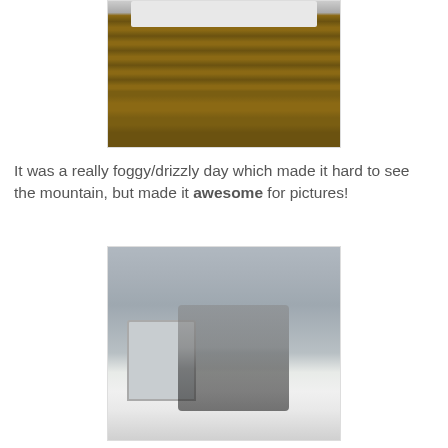[Figure (photo): Photo of a wooden deck/floor with what appears to be white painted structures at the top, viewed from ground level]
It was a really foggy/drizzly day which made it hard to see the mountain, but made it awesome for pictures!
[Figure (photo): Family photo of four people (two adults and two children) standing in snow in front of a white castle-like structure, with foggy/grey mountain background]